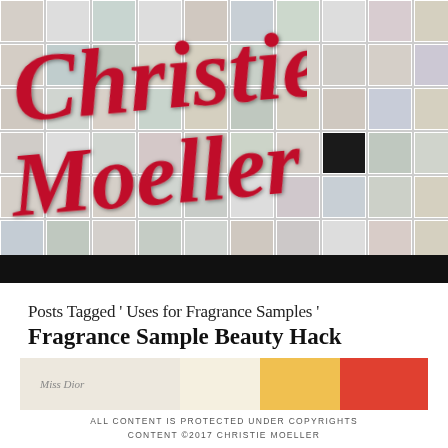[Figure (photo): Header banner with a blurred photo grid collage background and Christie Moeller logo in red cursive script overlaid]
Posts Tagged ‘ Uses for Fragrance Samples ’
Fragrance Sample Beauty Hack
[Figure (photo): Partial image of fragrance sample products including Miss Dior packaging and colorful paper items]
ALL CONTENT IS PROTECTED UNDER COPYRIGHTS
CONTENT ©2017 CHRISTIE MOELLER